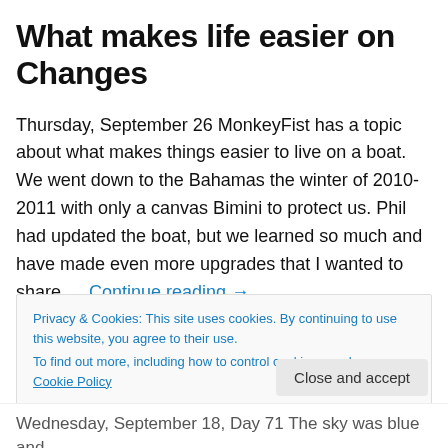What makes life easier on Changes
Thursday, September 26 MonkeyFist has a topic about what makes things easier to live on a boat. We went down to the Bahamas the winter of 2010-2011 with only a canvas Bimini to protect us. Phil had updated the boat, but we learned so much and have made even more upgrades that I wanted to share … Continue reading →
Privacy & Cookies: This site uses cookies. By continuing to use this website, you agree to their use.
To find out more, including how to control cookies, see here: Cookie Policy
Wednesday, September 18, Day 71 The sky was blue and